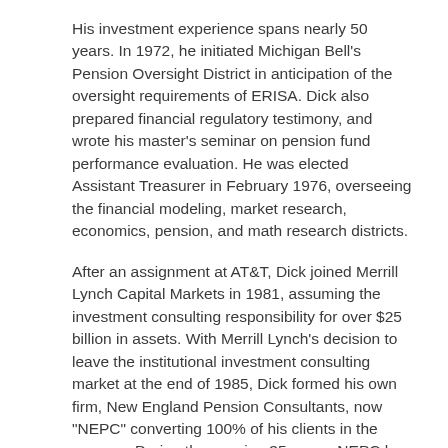His investment experience spans nearly 50 years. In 1972, he initiated Michigan Bell's Pension Oversight District in anticipation of the oversight requirements of ERISA. Dick also prepared financial regulatory testimony, and wrote his master's seminar on pension fund performance evaluation. He was elected Assistant Treasurer in February 1976, overseeing the financial modeling, market research, economics, pension, and math research districts.
After an assignment at AT&T, Dick joined Merrill Lynch Capital Markets in 1981, assuming the investment consulting responsibility for over $25 billion in assets. With Merrill Lynch's decision to leave the institutional investment consulting market at the end of 1985, Dick formed his own firm, New England Pension Consultants, now "NEPC" converting 100% of his clients in the process. During the ensuing 35 years, NEPC has become one of the largest and most well-known investment consulting firms in the industry.